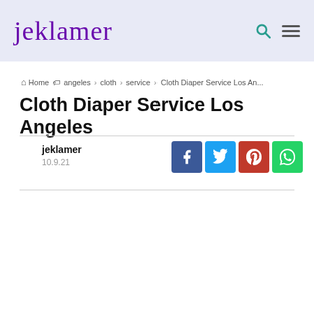-->
[Figure (logo): jeklamer script logo in purple cursive font on light lavender background header bar with search and hamburger menu icons]
Home › angeles › cloth › service › Cloth Diaper Service Los An...
Cloth Diaper Service Los Angeles
jeklamer
10.9.21
[Figure (infographic): Social sharing buttons: Facebook (blue), Twitter (light blue), Pinterest (red), WhatsApp (green)]